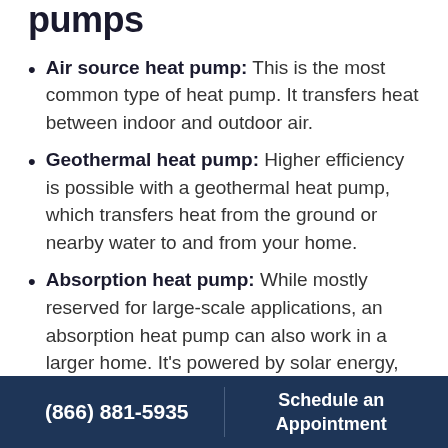pumps
Air source heat pump: This is the most common type of heat pump. It transfers heat between indoor and outdoor air.
Geothermal heat pump: Higher efficiency is possible with a geothermal heat pump, which transfers heat from the ground or nearby water to and from your home.
Absorption heat pump: While mostly reserved for large-scale applications, an absorption heat pump can also work in a larger home. It's powered by solar energy, geothermal-heated water or natural gas instead of electricity.
Mini-split heat pump: This is a solution for homes or add-ons without ductwork.
(866) 881-5935 | Schedule an Appointment